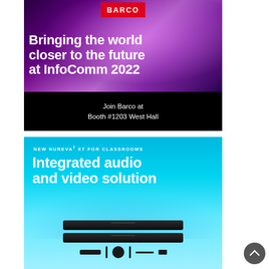[Figure (illustration): Barco advertisement for InfoComm 2022. Dark purple/magenta background with two figures in motion and colorful particle effects. Barco logo in red at top center. Large white bold text reads 'Bringing the world closer to the future at InfoComm 2022'. Below on black background: 'Join Barco at Booth #1203 West Hall'.]
[Figure (illustration): Nureva advertisement for 'NEW NUREVA XT FOR CLASSROOMS'. Cyan/blue gradient background with large white bold text 'Integrated audio and video solution'. Below shows two black soundbar devices stacked, plus accessories including remote, cable, and adapter.]